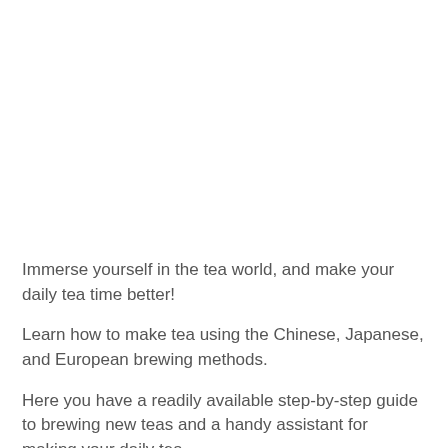Immerse yourself in the tea world, and make your daily tea time better!
Learn how to make tea using the Chinese, Japanese, and European brewing methods.
Here you have a readily available step-by-step guide to brewing new teas and a handy assistant for making your daily tea.
The app contains: